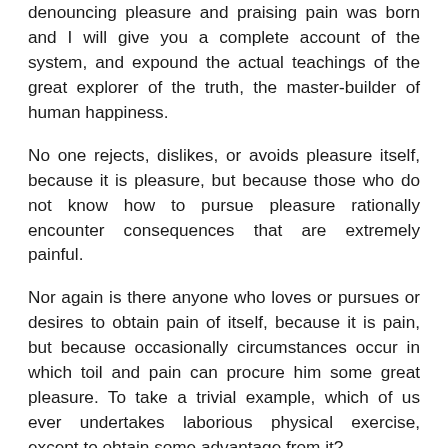denouncing pleasure and praising pain was born and I will give you a complete account of the system, and expound the actual teachings of the great explorer of the truth, the master-builder of human happiness.
No one rejects, dislikes, or avoids pleasure itself, because it is pleasure, but because those who do not know how to pursue pleasure rationally encounter consequences that are extremely painful.
Nor again is there anyone who loves or pursues or desires to obtain pain of itself, because it is pain, but because occasionally circumstances occur in which toil and pain can procure him some great pleasure. To take a trivial example, which of us ever undertakes laborious physical exercise, except to obtain some advantage from it?
Bootcamp Business Model Canvas